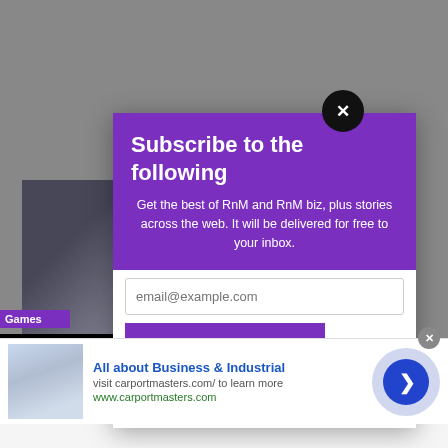[Figure (screenshot): Website screenshot background showing gray overlay with partially visible article content and thumbnail images]
Subscribe to the following
Get the best of RnM and RnM biz, plus stories across the web. It will be delivered for free to your inbox.
email@example.com
SUBSCRIBE
All about Business & Industrial
visit carportmasters.com/ to learn more
www.carportmasters.com